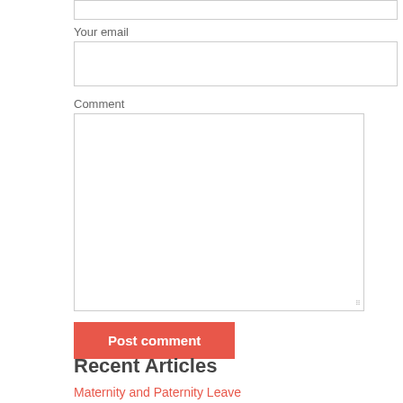[Figure (screenshot): Empty text input box at the top of the page]
Your email
[Figure (screenshot): Email input box]
Comment
[Figure (screenshot): Comment textarea with resize handle]
Post comment
Recent Articles
Maternity and Paternity Leave
Posted on May 22, 2022